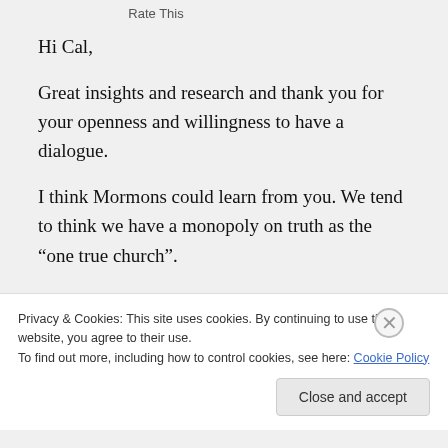Rate This
Hi Cal,
Great insights and research and thank you for your openness and willingness to have a dialogue.
I think Mormons could learn from you. We tend to think we have a monopoly on truth as the “one true church”.
I remember going to a Evangelical
Privacy & Cookies: This site uses cookies. By continuing to use this website, you agree to their use.
To find out more, including how to control cookies, see here: Cookie Policy
Close and accept